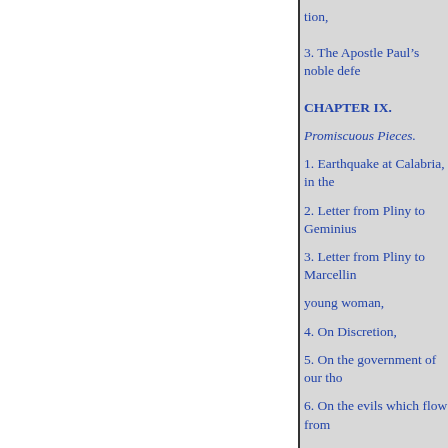tion,
3. The Apostle Paul’s noble defe
CHAPTER IX.
Promiscuous Pieces.
1. Earthquake at Calabria, in the
2. Letter from Pliny to Geminius
3. Letter from Pliny to Marcellin
young woman,
4. On Discretion,
5. On the government of our tho
6. On the evils which flow from
7. On the proper state of our tem
her,
mount,
10. Schemes of life often illusory
11. The pleasures of virtuous sen